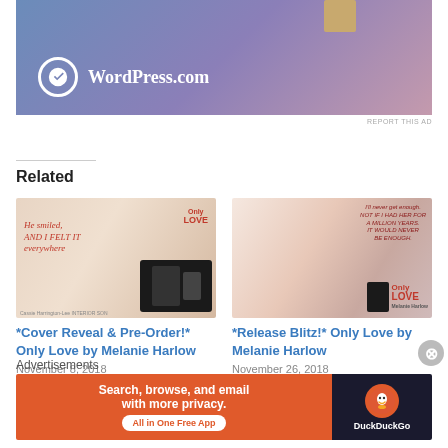[Figure (screenshot): WordPress.com advertisement banner with gradient blue-purple-pink background and WordPress logo]
REPORT THIS AD
Related
[Figure (illustration): Cover Reveal book promo image for Only Love by Melanie Harlow showing script text 'He smiled, and I felt it everywhere' with tablet/device mockups]
*Cover Reveal & Pre-Order!* Only Love by Melanie Harlow
November 8, 2018
[Figure (illustration): Release Blitz book promo image for Only Love by Melanie Harlow with quote 'I'll never get enough...' and device mockup]
*Release Blitz!* Only Love by Melanie Harlow
November 26, 2018
In "New Release"
Advertisements
[Figure (screenshot): DuckDuckGo advertisement: Search, browse, and email with more privacy. All in One Free App]